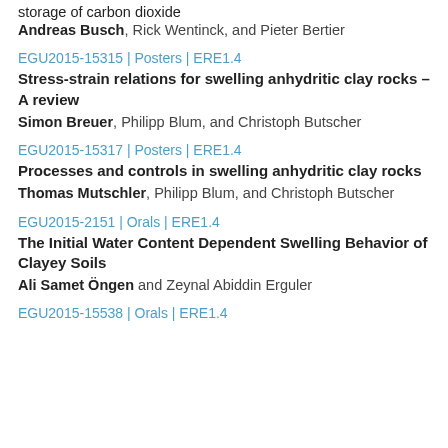storage of carbon dioxide
Andreas Busch, Rick Wentinck, and Pieter Bertier
EGU2015-15315 | Posters | ERE1.4
Stress-strain relations for swelling anhydritic clay rocks &ndash; A review
Simon Breuer, Philipp Blum, and Christoph Butscher
EGU2015-15317 | Posters | ERE1.4
Processes and controls in swelling anhydritic clay rocks
Thomas Mutschler, Philipp Blum, and Christoph Butscher
EGU2015-2151 | Orals | ERE1.4
The Initial Water Content Dependent Swelling Behavior of Clayey Soils
Ali Samet Öngen and Zeynal Abiddin Erguler
EGU2015-15538 | Orals | ERE1.4